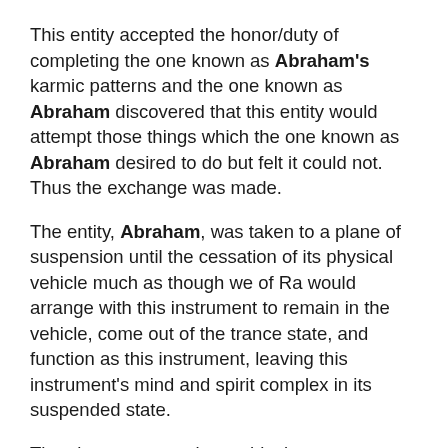This entity accepted the honor/duty of completing the one known as Abraham's karmic patterns and the one known as Abraham discovered that this entity would attempt those things which the one known as Abraham desired to do but felt it could not. Thus the exchange was made.
The entity, Abraham, was taken to a plane of suspension until the cessation of its physical vehicle much as though we of Ra would arrange with this instrument to remain in the vehicle, come out of the trance state, and function as this instrument, leaving this instrument's mind and spirit complex in its suspended state.
The planetary energies at this time were at what seemed to this entity to be at a critical point, for that which you know as freedom had gained in acceptance as a possibility among many peoples. This entity saw the work done by those beginning the democratic concept of freedom, as you call it,